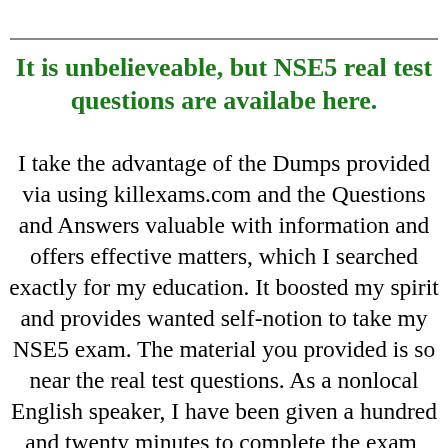It is unbelieveable, but NSE5 real test questions are availabe here.
I take the advantage of the Dumps provided via using killexams.com and the Questions and Answers valuable with information and offers effective matters, which I searched exactly for my education. It boosted my spirit and provides wanted self-notion to take my NSE5 exam. The material you provided is so near the real test questions. As a nonlocal English speaker, I have been given a hundred and twenty minutes to complete the exam, however, I Truly took 90 5 minutes. Splendid dump. Thank you.